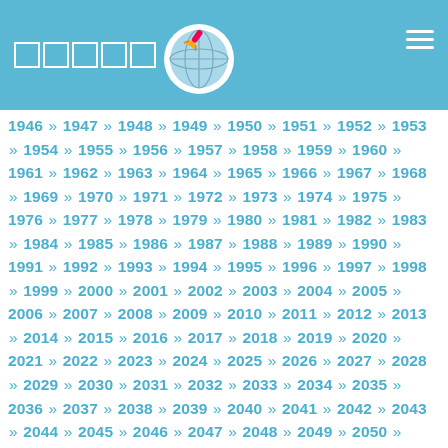Navigation header with logo squares, globe icon, and hamburger menu
1946 » 1947 » 1948 » 1949 » 1950 » 1951 » 1952 » 1953 » 1954 » 1955 » 1956 » 1957 » 1958 » 1959 » 1960 » 1961 » 1962 » 1963 » 1964 » 1965 » 1966 » 1967 » 1968 » 1969 » 1970 » 1971 » 1972 » 1973 » 1974 » 1975 » 1976 » 1977 » 1978 » 1979 » 1980 » 1981 » 1982 » 1983 » 1984 » 1985 » 1986 » 1987 » 1988 » 1989 » 1990 » 1991 » 1992 » 1993 » 1994 » 1995 » 1996 » 1997 » 1998 » 1999 » 2000 » 2001 » 2002 » 2003 » 2004 » 2005 » 2006 » 2007 » 2008 » 2009 » 2010 » 2011 » 2012 » 2013 » 2014 » 2015 » 2016 » 2017 » 2018 » 2019 » 2020 » 2021 » 2022 » 2023 » 2024 » 2025 » 2026 » 2027 » 2028 » 2029 » 2030 » 2031 » 2032 » 2033 » 2034 » 2035 » 2036 » 2037 » 2038 » 2039 » 2040 » 2041 » 2042 » 2043 » 2044 » 2045 » 2046 » 2047 » 2048 » 2049 » 2050 » 2051 » 2052 » 2053 » 2054 » 2055 » 2056 » 2057 » 2058 » 2059 » 2060 » 2061 » 2062 » 2063 » 2064 » 2065 » 2066 » 2067 » 2068 » 2069 » 2070 » 2071 » 2072 » 2073 » 2074 » 2075 » 2076 » 2077 » 2078 » 2079 » 2080 » 2081 » 2082 » 2083 » 2084 » 2085 » 2086 » 2087 » 2088 » 2089 » 2090 » 2091 » 2092 » 2093 » 2094 » 2095 » 2096 » 2097 » 2098 » 2099 » 2100 » 2101 » 2102 » 2103 » 2104 » 2105 » 2106 » 2107 » 2108 » 2109 » 2110 » 2111 » 2112 » 2113 » 2114 » 2115 » 2116 » 2117 » 2118 » 2119 » 2120 » 2121 » 2122 » 2123 » 2124 » 2125 » 2126 » 2127 » 2128 » 2129 » 2130 » 2131 » 2132 » 2133 » 2134